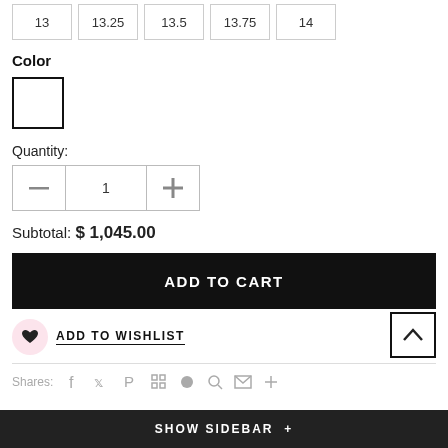13  13.25  13.5  13.75  14
Color
[Figure (other): White color swatch box with black border]
Quantity:
[Figure (other): Quantity selector with minus button, value 1, plus button]
Subtotal:  $ 1,045.00
ADD TO CART
ADD TO WISHLIST
Shares:
SHOW SIDEBAR +